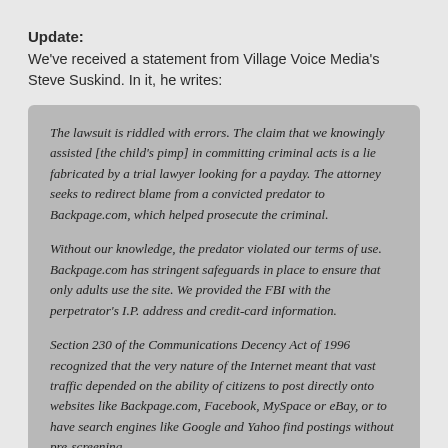Update:
We've received a statement from Village Voice Media's Steve Suskind. In it, he writes:
The lawsuit is riddled with errors. The claim that we knowingly assisted [the child's pimp] in committing criminal acts is a lie fabricated by a trial lawyer looking for a payday. The attorney seeks to redirect blame from a convicted predator to Backpage.com, which helped prosecute the criminal.
Without our knowledge, the predator violated our terms of use. Backpage.com has stringent safeguards in place to ensure that only adults use the site. We provided the FBI with the perpetrator's I.P. address and credit-card information.
Section 230 of the Communications Decency Act of 1996 recognized that the very nature of the Internet meant that vast traffic depended on the ability of citizens to post directly onto websites like Backpage.com, Facebook, MySpace or eBay, or to have search engines like Google and Yahoo find postings without pre-screening